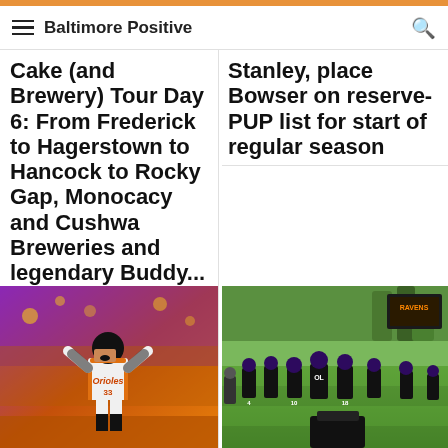Baltimore Positive
Cake (and Brewery) Tour Day 6: From Frederick to Hagerstown to Hancock to Rocky Gap, Monocacy and Cushwa Breweries and legendary Buddy...
Stanley, place Bowser on reserve-PUP list for start of regular season
[Figure (photo): Baseball player in Orioles uniform celebrating, purple and orange background]
[Figure (photo): Ravens football players in black uniforms practicing on green field, numbers 4, 10, 18 visible]